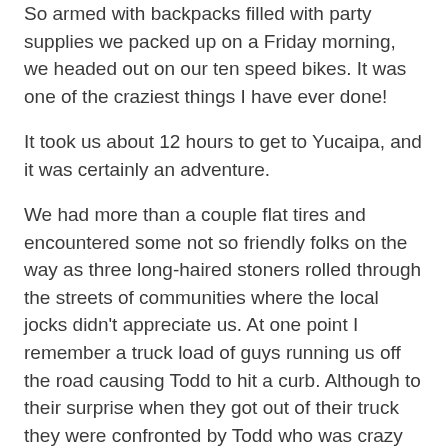So armed with backpacks filled with party supplies we packed up on a Friday morning, we headed out on our ten speed bikes. It was one of the craziest things I have ever done!
It took us about 12 hours to get to Yucaipa, and it was certainly an adventure.
We had more than a couple flat tires and encountered some not so friendly folks on the way as three long-haired stoners rolled through the streets of communities where the local jocks didn't appreciate us. At one point I remember a truck load of guys running us off the road causing Todd to hit a curb. Although to their surprise when they got out of their truck they were confronted by Todd who was crazy as hell and armed with a 24 crescent wrench.